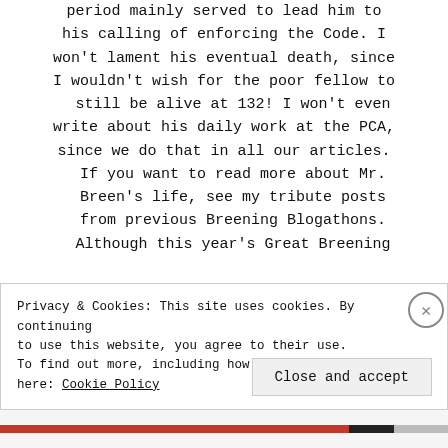period mainly served to lead him to his calling of enforcing the Code. I won't lament his eventual death, since I wouldn't wish for the poor fellow to still be alive at 132! I won't even write about his daily work at the PCA, since we do that in all our articles. If you want to read more about Mr. Breen's life, see my tribute posts from previous Breening Blogathons. Although this year's Great Breening
Privacy & Cookies: This site uses cookies. By continuing to use this website, you agree to their use. To find out more, including how to control cookies, see here: Cookie Policy
Close and accept